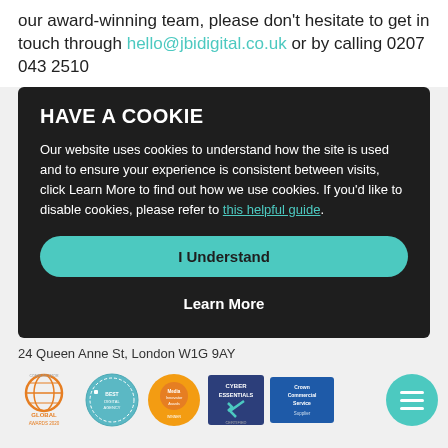our award-winning team, please don't hesitate to get in touch through hello@jbidigital.co.uk or by calling 0207 043 2510
HAVE A COOKIE
Our website uses cookies to understand how the site is used and to ensure your experience is consistent between visits, click Learn More to find out how we use cookies. If you'd like to disable cookies, please refer to this helpful guide.
I Understand
Learn More
24 Queen Anne St, London W1G 9AY
[Figure (logo): Five award and certification logos: Communicator Global Awards 2020, a circular badge award, Media Innovator Awards, Cyber Essentials, Crown Commercial Service Supplier, and a teal hamburger menu button]